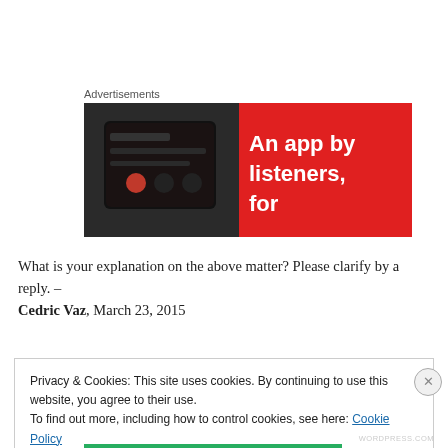Advertisements
[Figure (illustration): Red advertisement banner showing a smartphone on the left and white bold text reading 'An app by listeners, for' on a red background.]
What is your explanation on the above matter? Please clarify by a reply. –
Cedric Vaz, March 23, 2015
Privacy & Cookies: This site uses cookies. By continuing to use this website, you agree to their use.
To find out more, including how to control cookies, see here: Cookie Policy